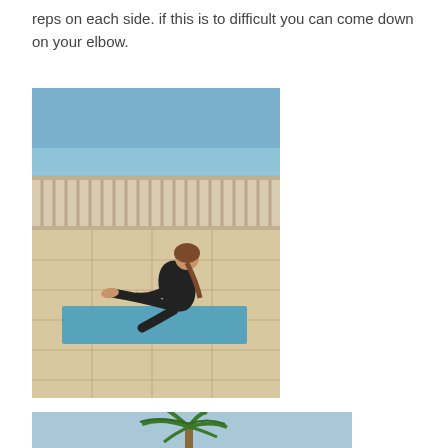reps on each side. if this is to difficult you can come down on your elbow.
[Figure (photo): Woman performing a V-sit or boat pose exercise on a blue yoga mat on an outdoor tiled terrace overlooking the sea, with a metal railing in the background.]
[Figure (photo): Partial view of an outdoor area with a palm tree, sea in the background, and a railing, suggesting a coastal terrace setting.]